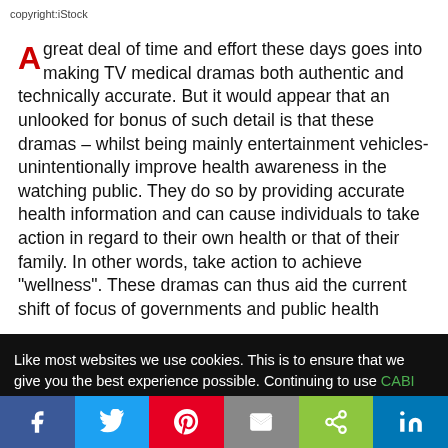copyright:iStock
A great deal of time and effort these days goes into making TV medical dramas both authentic and technically accurate. But it would appear that an unlooked for bonus of such detail is that these dramas – whilst being mainly entertainment vehicles- unintentionally improve health awareness in the watching public. They do so by providing accurate health information and can cause individuals to take action in regard to their own health or that of their family. In other words, take action to achieve "wellness". These dramas can thus aid the current shift of focus of governments and public health
Like most websites we use cookies. This is to ensure that we give you the best experience possible. Continuing to use CABI Blog means you agree to our use of cookies. If you would like to, you can learn more about the cookies we use here.